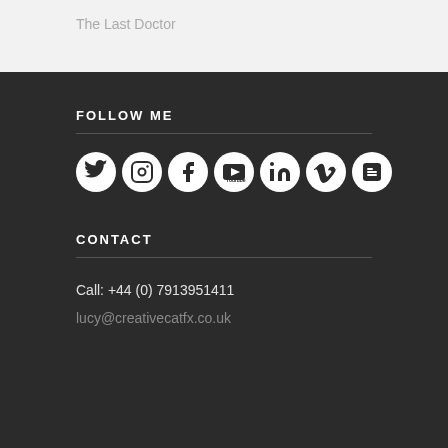The Last Doctor
FOLLOW ME
[Figure (infographic): Row of 7 social media icon circles: Twitter, Instagram, Facebook, YouTube, LinkedIn, Vimeo, Blogger]
CONTACT
Call: +44 (0) 7913951411
lucy@creativecatfx.co.uk